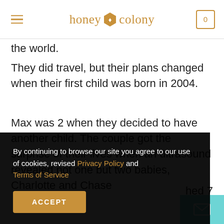honey colony (navigation bar with hamburger menu and cart)
the world.
They did travel, but their plans changed when their first child was born in 2004.
Max was 2 when they decided to have another child. The couple got the surprise of their lives when an ultrasound revealed not one but two babies, Charlotte and Chase
hed 7
lthy.
By continuing to browse our site you agree to our use of cookies, revised Privacy Policy and Terms of Service
ACCEPT